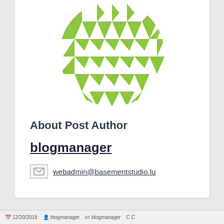[Figure (logo): Geometric globe/sphere logo made of lime green triangular and diamond shapes arranged in a circular pattern on white background]
About Post Author
blogmanager
webadmin@basementstudio.lu
12/20/2018 … blogmanager … C C